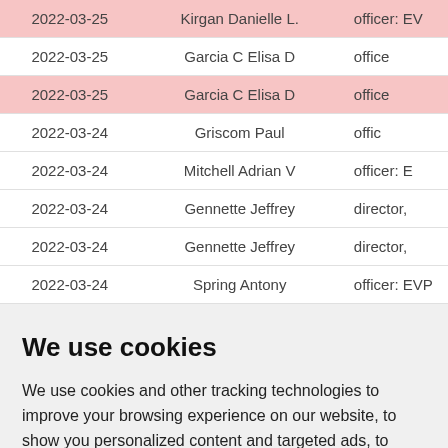| Date | Name | Role |
| --- | --- | --- |
| 2022-03-25 | Kirgan Danielle L. | officer: EV |
| 2022-03-25 | Garcia C Elisa D | office |
| 2022-03-25 | Garcia C Elisa D | office |
| 2022-03-24 | Griscom Paul | offic |
| 2022-03-24 | Mitchell Adrian V | officer: E |
| 2022-03-24 | Gennette Jeffrey | director, |
| 2022-03-24 | Gennette Jeffrey | director, |
| 2022-03-24 | Spring Antony | officer: EVP |
We use cookies
We use cookies and other tracking technologies to improve your browsing experience on our website, to show you personalized content and targeted ads, to analyze our website traffic, and